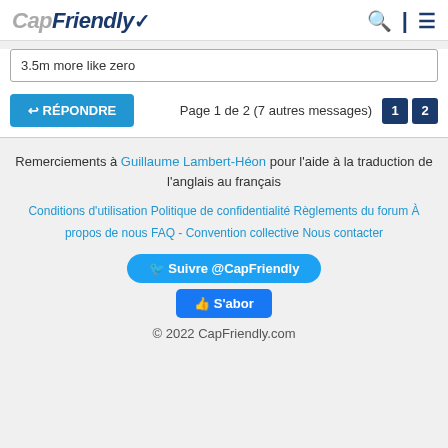CapFriendly
3.5m more like zero
RÉPONDRE   Page 1 de 2 (7 autres messages)  1  2
Remerciements à Guillaume Lambert-Héon pour l'aide à la traduction de l'anglais au français
Conditions d'utilisation   Politique de confidentialité   Règlements du forum   À propos de nous   FAQ - Convention collective   Nous contacter
Suivre @CapFriendly
S'abor
© 2022 CapFriendly.com